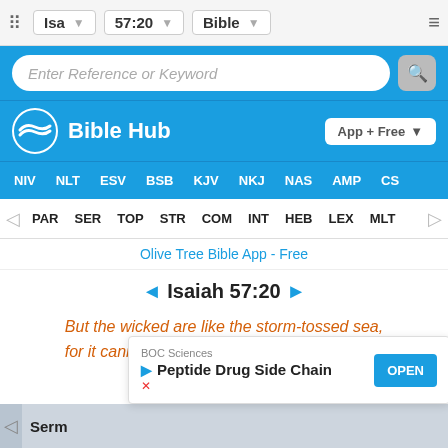Isa | 57:20 | Bible — navigation bar with grid, dropdowns, and menu
[Figure (screenshot): Search bar with 'Enter Reference or Keyword' placeholder and search icon, on blue background]
[Figure (logo): Bible Hub logo with wave icon and 'Bible Hub' text, App + Free download button]
NIV NLT ESV BSB KJV NKJ NAS AMP CS
PAR SER TOP STR COM INT HEB LEX MLT
Olive Tree Bible App - Free
Isaiah 57:20
But the wicked are like the storm-tossed sea, for it cannot be still, and its waves churn up
[Figure (screenshot): Ad overlay: BOC Sciences — Peptide Drug Side Chain — OPEN button]
Sermons (partial) — bottom navigation